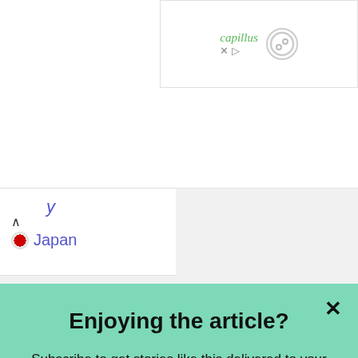[Figure (screenshot): Advertisement banner for 'capillus' with close X and play button controls and a circular logo element]
y
🇯🇵 Japan
Enjoying the article?
Subscribe to get stories like this delivered to your inbox every day
Enter your email
Subscribe
powered by MailMunch